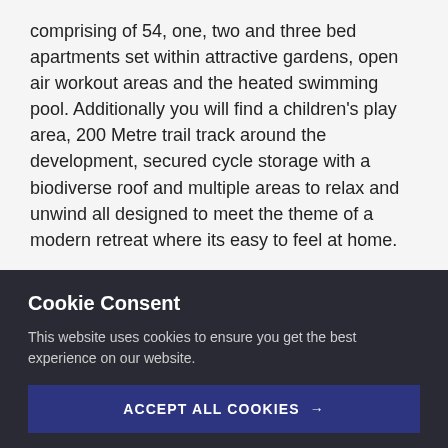comprising of 54, one, two and three bed apartments set within attractive gardens, open air workout areas and the heated swimming pool. Additionally you will find a children's play area, 200 Metre trail track around the development, secured cycle storage with a biodiverse roof and multiple areas to relax and unwind all designed to meet the theme of a modern retreat where its easy to feel at home.
Cookie Consent
This website uses cookies to ensure you get the best experience on our website.
ACCEPT ALL COOKIES →
USE NECESSARY COOKIES ONLY →